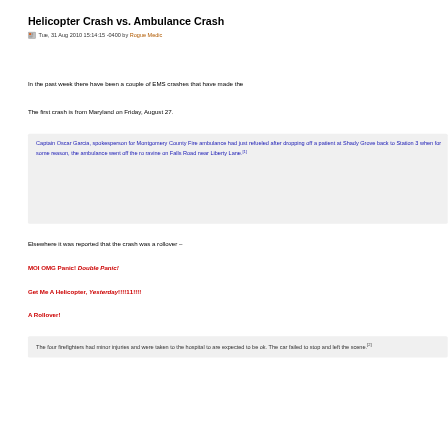Helicopter Crash vs. Ambulance Crash
Tue, 31 Aug 2010 15:14:15 -0400 by Rogue Medic
In the past week there have been a couple of EMS crashes that have made the
The first crash is from Maryland on Friday, August 27.
Captain Oscar Garcia, spokesperson for Montgomery County Fire ambulance had just refueled after dropping off a patient at Shady Grove back to Station 3 when for some reason, the ambulance went off the ro ravine on Falls Road near Liberty Lane.[1]
Elsewhere it was reported that the crash was a rollover –
MOI OMG Panic! Double Panic!
Get Me A Helicopter, Yesterday!!!!11!!!!
A Rollover!
The four firefighters had minor injuries and were taken to the hospital to are expected to be ok. The car failed to stop and left the scene.[2]